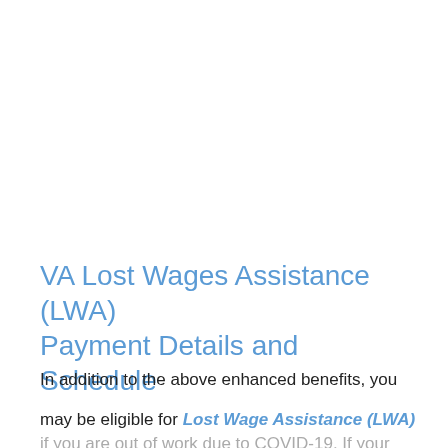VA Lost Wages Assistance (LWA) Payment Details and Schedule
In addition to the above enhanced benefits, you may be eligible for Lost Wage Assistance (LWA) if you are out of work due to COVID-19. If your